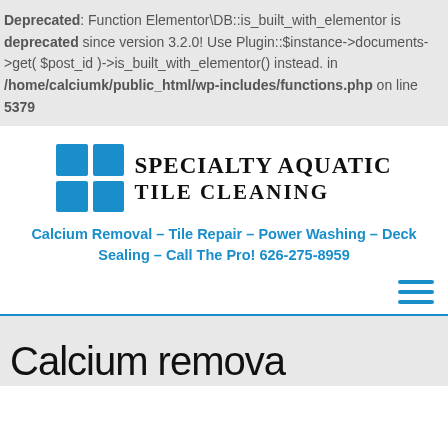Deprecated: Function Elementor\DB::is_built_with_elementor is deprecated since version 3.2.0! Use Plugin::$instance->documents->get( $post_id )->is_built_with_elementor() instead. in /home/calciumk/public_html/wp-includes/functions.php on line 5379
[Figure (logo): Specialty Aquatic Tile Cleaning logo with four blue squares arranged in a 2x2 grid and company name in serif bold font]
Calcium Removal – Tile Repair – Power Washing – Deck Sealing – Call The Pro! 626-275-8959
[Figure (other): Hamburger menu icon with three horizontal blue lines]
Calcium removal